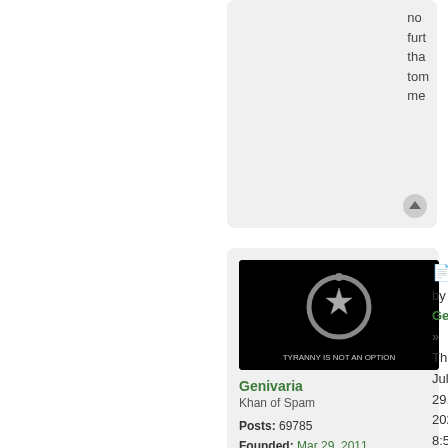no furt that tom me
[Figure (illustration): User avatar image: black background with circular snake/ouroboros design around a star, text 'TYRANNY IS NOT AN OPTION' at bottom]
Genivaria
Khan of Spam

Posts: 69785
Founded: Mar 29, 2011
Iron Fist Consumerists
by Genivaria » Thu Jul 29, 2021 8:58 am